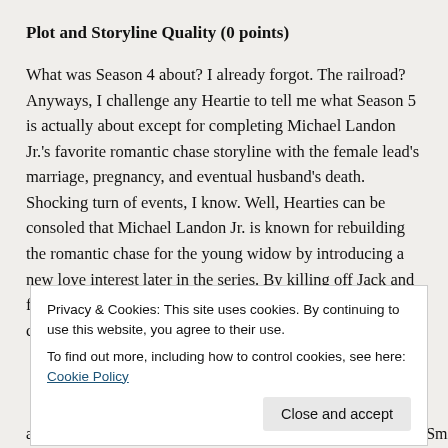Plot and Storyline Quality (0 points)
What was Season 4 about?  I already forgot.  The railroad?  Anyways, I challenge any Heartie to tell me what Season 5 is actually about except for completing Michael Landon Jr.'s favorite romantic chase storyline with the female lead's marriage, pregnancy, and eventual husband's death.  Shocking turn of events, I know.  Well, Hearties can be consoled that Michael Landon Jr. is known for rebuilding the romantic chase for the young widow by introducing a new love interest later in the series.  By killing off Jack and freeing Daniel Lissing from this nonsense, Landon Jr. and company opened up a
Privacy & Cookies: This site uses cookies. By continuing to use this website, you agree to their use.
To find out more, including how to control cookies, see here: Cookie Policy
and tired.  Erin Krakow, Lori Loughlin, Daniel Lissing, Kevan Smith